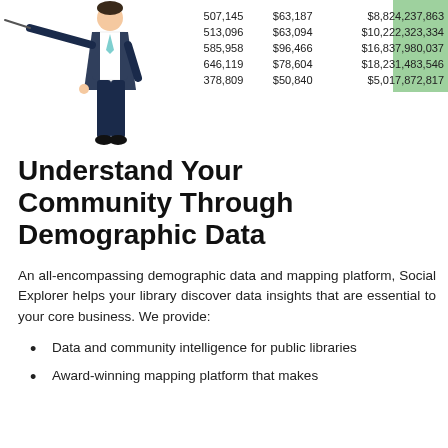[Figure (illustration): Person in business attire pointing with a pointer stick, illustration/clip art style]
| 507,145 | $63,187 | $8,824,237,863 |
| 513,096 | $63,094 | $10,222,323,334 |
| 585,958 | $96,466 | $16,837,980,037 |
| 646,119 | $78,604 | $18,231,483,546 |
| 378,809 | $50,840 | $5,017,872,817 |
Understand Your Community Through Demographic Data
An all-encompassing demographic data and mapping platform, Social Explorer helps your library discover data insights that are essential to your core business. We provide:
Data and community intelligence for public libraries
Award-winning mapping platform that makes